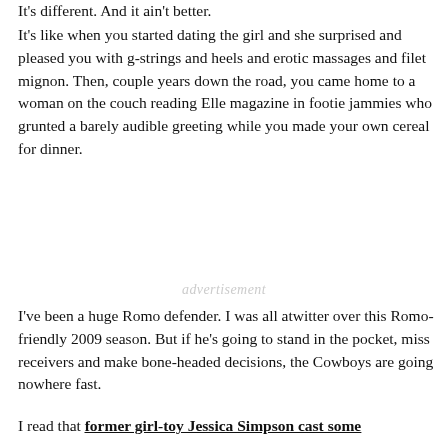It's different. And it ain't better.
It's like when you started dating the girl and she surprised and pleased you with g-strings and heels and erotic massages and filet mignon. Then, couple years down the road, you came home to a woman on the couch reading Elle magazine in footie jammies who grunted a barely audible greeting while you made your own cereal for dinner.
advertisement
I've been a huge Romo defender. I was all atwitter over this Romo-friendly 2009 season. But if he's going to stand in the pocket, miss receivers and make bone-headed decisions, the Cowboys are going nowhere fast.
I read that former girl-toy Jessica Simpson cast some